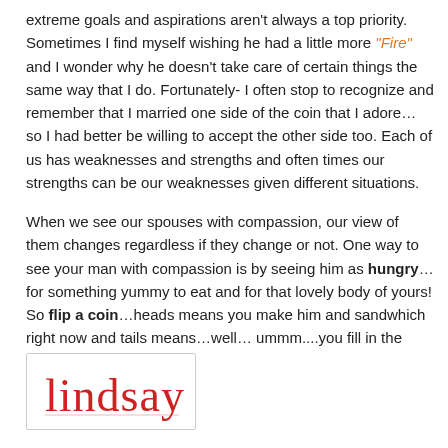extreme goals and aspirations aren't always a top priority. Sometimes I find myself wishing he had a little more "Fire" and I wonder why he doesn't take care of certain things the same way that I do. Fortunately- I often stop to recognize and remember that I married one side of the coin that I adore… so I had better be willing to accept the other side too. Each of us has weaknesses and strengths and often times our strengths can be our weaknesses given different situations.
When we see our spouses with compassion, our view of them changes regardless if they change or not. One way to see your man with compassion is by seeing him as hungry… for something yummy to eat and for that lovely body of yours! So flip a coin…heads means you make him and sandwhich right now and tails means…well… ummm....you fill in the blank. ;)
[Figure (illustration): Handwritten-style signature reading 'Lindsay' in red cursive font inside a light gray bordered box]